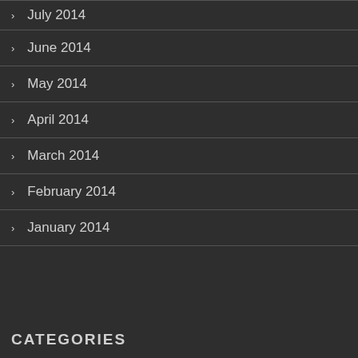July 2014
June 2014
May 2014
April 2014
March 2014
February 2014
January 2014
CATEGORIES